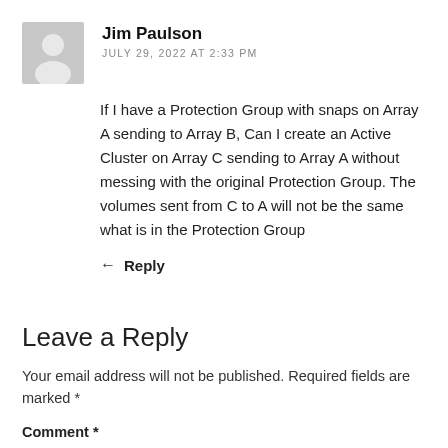Jim Paulson
JULY 29, 2022 AT 2:33 PM
If I have a Protection Group with snaps on Array A sending to Array B, Can I create an Active Cluster on Array C sending to Array A without messing with the original Protection Group. The volumes sent from C to A will not be the same what is in the Protection Group
Reply
Leave a Reply
Your email address will not be published. Required fields are marked *
Comment *